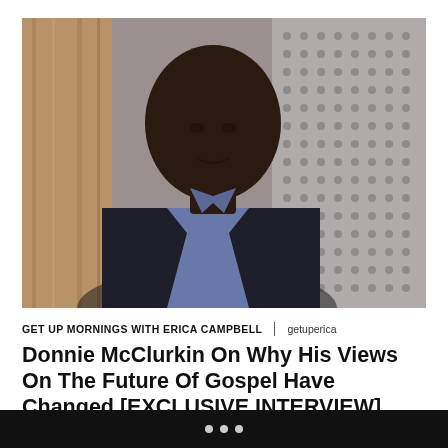[Figure (photo): Portrait photo of Donnie McClurkin, a bald Black man wearing a dark vest over a checked shirt, seated against a wood-paneled wall on the left and a patterned decorative wall on the right.]
GET UP MORNINGS WITH ERICA CAMPBELL | getuperica
Donnie McClurkin On Why His Views On The Future Of Gospel Have Changed [EXCLUSIVE INTERVIEW]
Donnie McClurkin talks about how his views on...